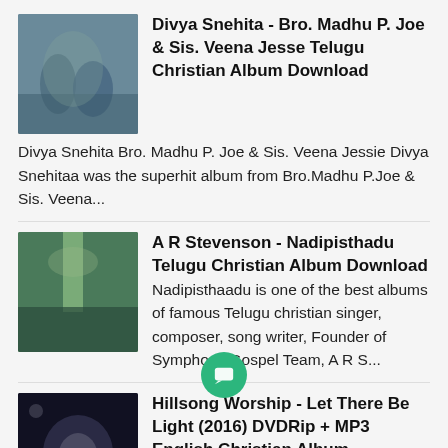[Figure (photo): Thumbnail image for Divya Snehita album showing two people near water]
Divya Snehita - Bro. Madhu P. Joe & Sis. Veena Jesse Telugu Christian Album Download
Divya Snehita Bro. Madhu P. Joe & Sis. Veena Jessie Divya Snehitaa was the superhit album from Bro.Madhu P.Joe & Sis. Veena...
[Figure (photo): Thumbnail image for A R Stevenson Nadipisthadu album showing nature/waterfall]
A R Stevenson - Nadipisthadu Telugu Christian Album Download
Nadipisthaadu is one of the best albums of famous Telugu christian singer, composer, song writer, Founder of Symphony Gospel Team, A R S...
[Figure (photo): Thumbnail image for Hillsong Worship Let There Be Light album showing dark image with light]
Hillsong Worship - Let There Be Light (2016) DVDRip + MP3 English Christian Album Download
Let There Be Light (stylised as let there be light.) is the 25th live album of Hillsong Worship , which consists of several worship pas.